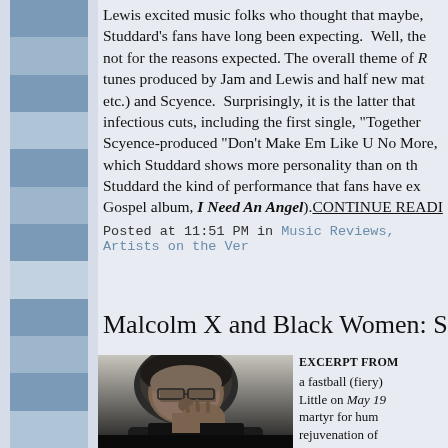Lewis excited music folks who thought that maybe, Studdard's fans have long been expecting. Well, the not for the reasons expected. The overall theme of tunes produced by Jam and Lewis and half new mat etc.) and Scyence. Surprisingly, it is the latter that infectious cuts, including the first single, "Together Scyence-produced "Don't Make Em Like U No More, which Studdard shows more personality than on th Studdard the kind of performance that fans have e Gospel album, I Need An Angel). CONTINUE READI
Posted at 11:51 PM in Music Reviews, Artists on the Ve
Malcolm X and Black Women: Stru
[Figure (photo): Black and white photograph of Malcolm X, shown from the shoulders up, wearing glasses, with his hand raised near his chin in a thoughtful pose]
EXCERPT FROM a fastball (fiery) Little on May 19 martyr for hum rejuvenation of